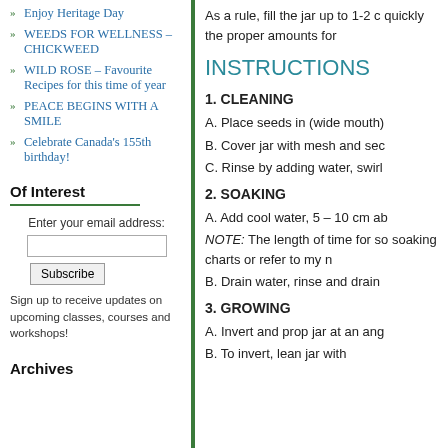Enjoy Heritage Day
WEEDS FOR WELLNESS – CHICKWEED
WILD ROSE – Favourite Recipes for this time of year
PEACE BEGINS WITH A SMILE
Celebrate Canada's 155th birthday!
Of Interest
Enter your email address:
Subscribe
Sign up to receive updates on upcoming classes, courses and workshops!
Archives
As a rule, fill the jar up to 1-2 c quickly the proper amounts for
INSTRUCTIONS
1. CLEANING
A. Place seeds in (wide mouth)
B. Cover jar with mesh and sec
C. Rinse by adding water, swirl
2. SOAKING
A. Add cool water, 5 – 10 cm ab
NOTE: The length of time for so soaking charts or refer to my n
B. Drain water, rinse and drain
3. GROWING
A. Invert and prop jar at an ang
B. To invert, lean jar with